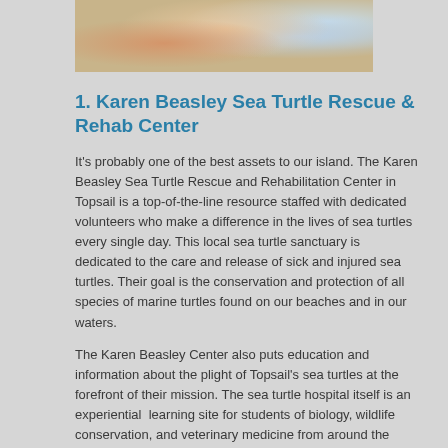[Figure (photo): Cropped photo showing hands holding a sea turtle, with colorful background]
1. Karen Beasley Sea Turtle Rescue & Rehab Center
It's probably one of the best assets to our island. The Karen Beasley Sea Turtle Rescue and Rehabilitation Center in Topsail is a top-of-the-line resource staffed with dedicated volunteers who make a difference in the lives of sea turtles every single day. This local sea turtle sanctuary is dedicated to the care and release of sick and injured sea turtles. Their goal is the conservation and protection of all species of marine turtles found on our beaches and in our waters.
The Karen Beasley Center also puts education and information about the plight of Topsail's sea turtles at the forefront of their mission. The sea turtle hospital itself is an experiential learning site for students of biology, wildlife conservation, and veterinary medicine from around the world. They also spearhead an annual sea turtle beach patrol that combs the 26-mile Topsail Island shoreline every single